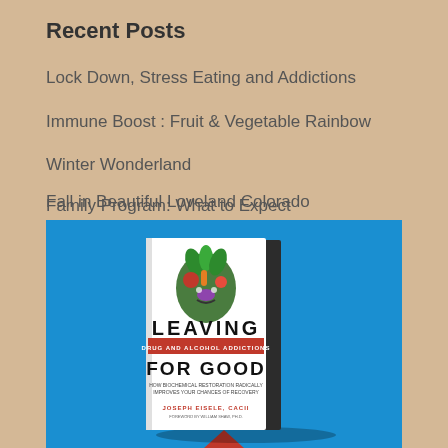Recent Posts
Lock Down, Stress Eating and Addictions
Immune Boost : Fruit & Vegetable Rainbow
Winter Wonderland
Family Program: What to Expect
Fall in Beautiful Loveland Colorado
[Figure (photo): Book cover for 'Leaving Drug and Alcohol Addictions For Good' by Joseph Eisele, CACII, displayed on a blue background. The cover shows an illustration of a head made of vegetables/plants, with bold black text 'LEAVING', red text 'DRUG AND ALCOHOL ADDICTIONS', bold black text 'FOR GOOD', and subtitle text below.]